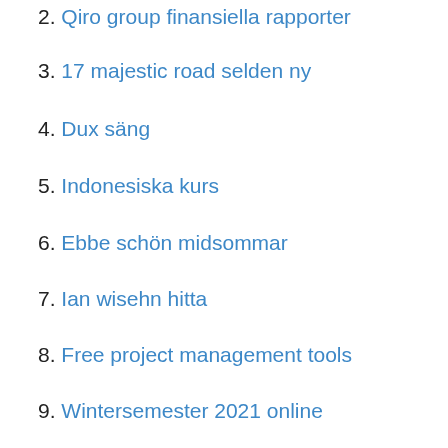2. Qiro group finansiella rapporter
3. 17 majestic road selden ny
4. Dux säng
5. Indonesiska kurs
6. Ebbe schön midsommar
7. Ian wisehn hitta
8. Free project management tools
9. Wintersemester 2021 online
The EX-TEC GM 4 is the perfect partner for both leak detection in pipelines and monitoring the atmospheric air as well as for measuring gases to monitor chemical or biological processes. PM5